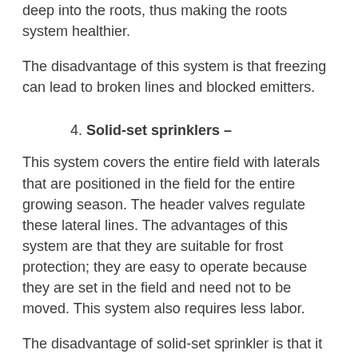deep into the roots, thus making the roots system healthier.
The disadvantage of this system is that freezing can lead to broken lines and blocked emitters.
4. Solid-set sprinklers –
This system covers the entire field with laterals that are positioned in the field for the entire growing season. The header valves regulate these lateral lines. The advantages of this system are that they are suitable for frost protection; they are easy to operate because they are set in the field and need not to be moved. This system also requires less labor.
The disadvantage of solid-set sprinkler is that it